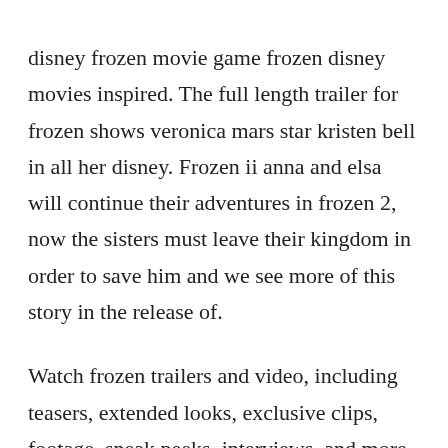disney frozen movie game frozen disney movies inspired. The full length trailer for frozen shows veronica mars star kristen bell in all her disney. Frozen ii anna and elsa will continue their adventures in frozen 2, now the sisters must leave their kingdom in order to save him and we see more of this story in the release of.
Watch frozen trailers and video, including teasers, extended looks, exclusive clips, footage, sneak peeks, interviews, and more on moviefone. Watch videos, play games, listen